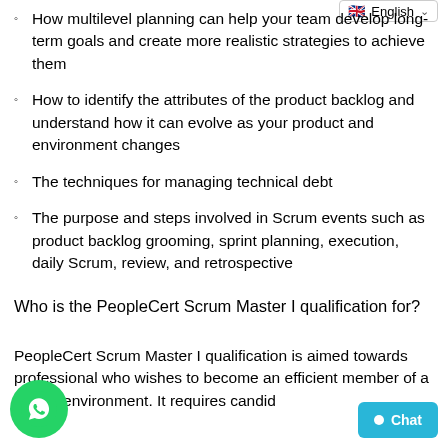[Figure (screenshot): Language selector dropdown showing English with UK flag]
How multilevel planning can help your team develop long-term goals and create more realistic strategies to achieve them
How to identify the attributes of the product backlog and understand how it can evolve as your product and environment changes
The techniques for managing technical debt
The purpose and steps involved in Scrum events such as product backlog grooming, sprint planning, execution, daily Scrum, review, and retrospective
Who is the PeopleCert Scrum Master I qualification for?
PeopleCert Scrum Master I qualification is aimed towards professional who wishes to become an efficient member of a Scrum environment. It requires candid
[Figure (logo): WhatsApp chat button (green circle with phone icon) and blue Chat button in bottom corners]